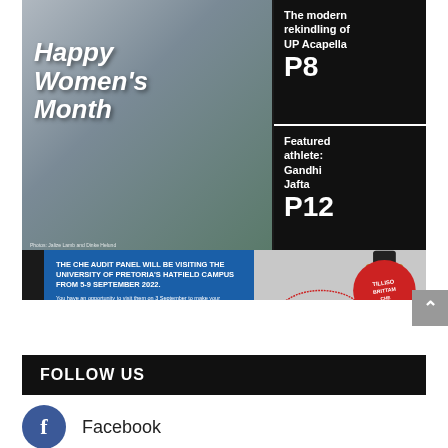[Figure (photo): Composite magazine cover image showing 'Happy Women's Month' text overlay on a photo of women athletes, with right sidebar on black background listing 'The modern rekindling of UP Acapella P8' and 'Featured athlete: Gandhi Jafta P12'. Below is a CHE audit panel announcement banner on blue background alongside a rubber stamp graphic reading 'Quality Matters 2021/22', and a small University of Pretoria crest logo.]
THE CHE AUDIT PANEL WILL BE VISITING THE UNIVERSITY OF PRETORIA'S HATFIELD CAMPUS FROM 5-9 SEPTEMBER 2022. You have an opportunity to visit them on 3 September to make your submission. Make an appointment by email: Nobolola.B@che.ac.za #QualityEducationMatters
FOLLOW US
Facebook